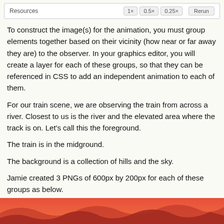[Figure (screenshot): Toolbar with Resources label on left and speed buttons 1x, 0.5x, 0.25x plus Rerun button on the right]
To construct the image(s) for the animation, you must group elements together based on their vicinity (how near or far away they are) to the observer. In your graphics editor, you will create a layer for each of these groups, so that they can be referenced in CSS to add an independent animation to each of them.
For our train scene, we are observing the train from across a river. Closest to us is the river and the elevated area where the track is on. Let's call this the foreground.
The train is in the midground.
The background is a collection of hills and the sky.
Jamie created 3 PNGs of 600px by 200px for each of these groups as below.
[Figure (illustration): Partial view of an orange/red landscape illustration showing hills and sky — the foreground PNG image strip]